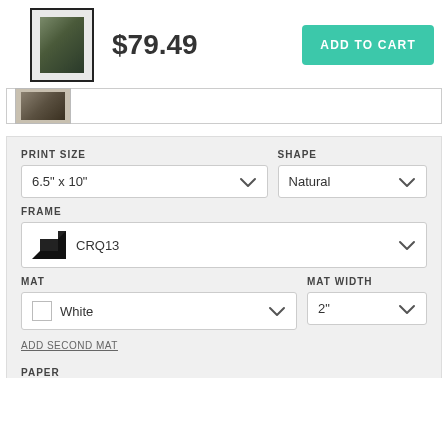[Figure (photo): Framed artwork product thumbnail with black frame border]
$79.49
ADD TO CART
[Figure (photo): Small thumbnail of framed artwork]
PRINT SIZE
6.5" x 10"
SHAPE
Natural
FRAME
CRQ13
MAT
White
MAT WIDTH
2"
ADD SECOND MAT
PAPER